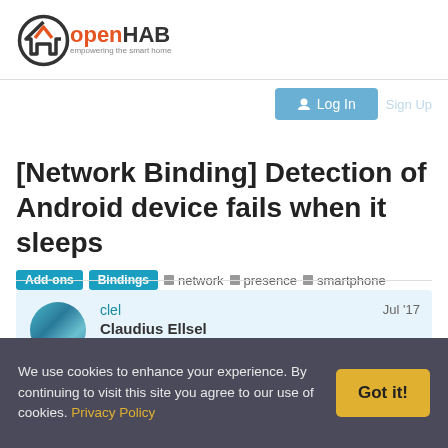[Figure (logo): openHAB logo with house icon and text 'openHAB empowering the smart home']
[Figure (screenshot): Log In button and Sign Up link in the navigation area]
[Network Binding] Detection of Android device fails when it sleeps
Add-ons  Bindings  network  presence  smartphone
clel
Claudius Ellsel
Jul '17
We use cookies to enhance your experience. By continuing to visit this site you agree to our use of cookies. Privacy Policy  Got it!